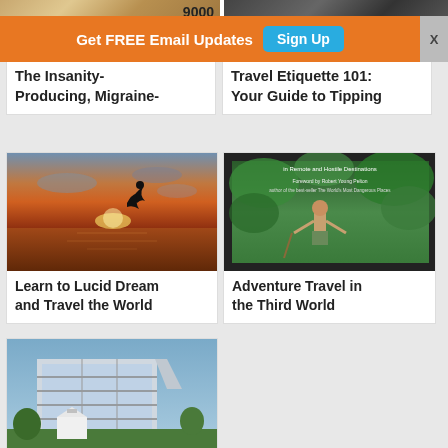[Figure (photo): Partial top strip showing money/currency image on left and dark architectural structure on right]
Get FREE Email Updates  Sign Up
The Insanity-Producing, Migraine-
Travel Etiquette 101: Your Guide to Tipping
[Figure (photo): Silhouette of person jumping/diving against a dramatic sunset over red/brown water]
Learn to Lucid Dream and Travel the World
[Figure (photo): Book cover showing man in jungle with text about remote and hostile destinations, foreword by Robert Young Pelton]
Adventure Travel in the Third World
[Figure (photo): Modern glass and steel building exterior with trees and a small white church or chapel in foreground]